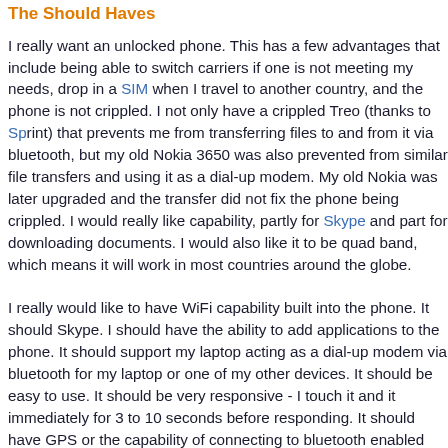The Should Haves
I really want an unlocked phone. This has a few advantages that include being able to switch carriers if one is not meeting my needs, drop in a SIM when I travel to another country, and the phone is not crippled. I not only have a crippled Treo (thanks to Sprint) that prevents me from transferring files to and from it via bluetooth, but my old Nokia 3650 was also prevented from similar file transfers and using it as a dial-up modem. My old Nokia was later upgraded and the transfer did not fix the phone being crippled. I would really like to have WiFi/EDGE capability, partly for Skype and part for downloading documents. I would also like it to be quad band, which means it will work in most countries around the globe.
I really would like to have WiFi capability built into the phone. It should support VOIP and Skype. I should have the ability to add applications to the phone. It should support my laptop acting as a dial-up modem via bluetooth for my laptop or one of my other devices. It should be easy to use. It should be very responsive - I touch it and it immediately responds, not waiting for 3 to 10 seconds before responding. It should have GPS or the capability of connecting to bluetooth enabled GPS devices to use with phone based applications. It should have a full QWERTY keyboard (2 character toggles could work too). I also like the large screen size that works well for web browsing and reading documents. I would also like a touch screen or rotating screen (it is an ease of use thing I have grown accustom to with my 8 year old handheld devices).
The Should Not Haves
It should not be locked to one carrier (this is not a deal breaker, but for